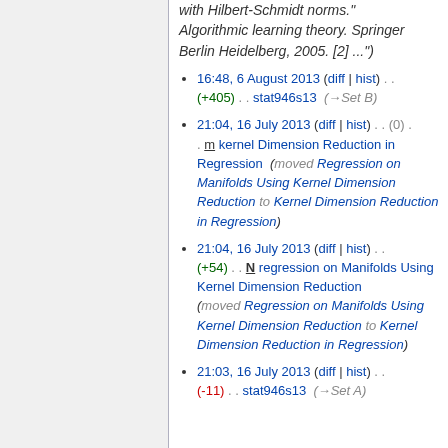with Hilbert-Schmidt norms." Algorithmic learning theory. Springer Berlin Heidelberg, 2005. [2] ...)
16:48, 6 August 2013 (diff | hist) . . (+405) . . stat946s13 (→Set B)
21:04, 16 July 2013 (diff | hist) . . (0) . . m kernel Dimension Reduction in Regression (moved Regression on Manifolds Using Kernel Dimension Reduction to Kernel Dimension Reduction in Regression)
21:04, 16 July 2013 (diff | hist) . . (+54) . . N regression on Manifolds Using Kernel Dimension Reduction (moved Regression on Manifolds Using Kernel Dimension Reduction to Kernel Dimension Reduction in Regression)
21:03, 16 July 2013 (diff | hist) . . (-11) . . stat946s13 (→Set A)